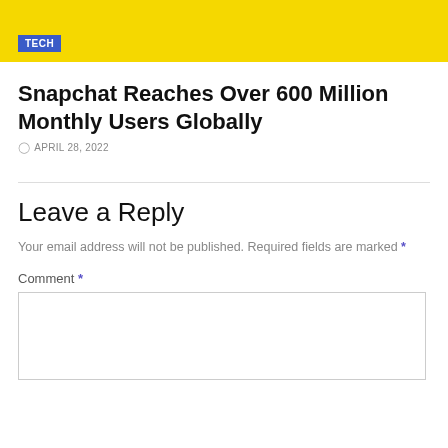[Figure (other): Yellow banner with TECH badge in blue]
Snapchat Reaches Over 600 Million Monthly Users Globally
APRIL 28, 2022
Leave a Reply
Your email address will not be published. Required fields are marked *
Comment *